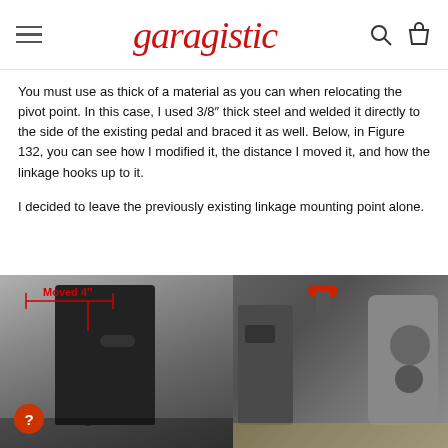garagistic
You must use as thick of a material as you can when relocating the pivot point. In this case, I used 3/8" thick steel and welded it directly to the side of the existing pedal and braced it as well. Below, in Figure 132, you can see how I modified it, the distance I moved it, and how the linkage hooks up to it.
I decided to leave the previously existing linkage mounting point alone.
[Figure (photo): Two side-by-side photos of a modified pedal pivot point. Left photo shows a black metal bracket/pedal assembly with a red annotation arrow and label 'Moved 4"' indicating the distance the pivot point was moved. Right photo shows the linkage connection with a red-tipped fastener visible at top and the bracket mounted to a chassis component.]